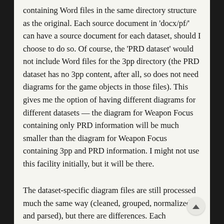containing Word files in the same directory structure as the original. Each source document in 'docx/pf/' can have a source document for each dataset, should I choose to do so. Of course, the 'PRD dataset' would not include Word files for the 3pp directory (the PRD dataset has no 3pp content, after all, so does not need diagrams for the game objects in those files). This gives me the option of having different diagrams for different datasets — the diagram for Weapon Focus containing only PRD information will be much smaller than the diagram for Weapon Focus containing 3pp and PRD information. I might not use this facility initially, but it will be there.
The dataset-specific diagram files are still processed much the same way (cleaned, grouped, normalized, and parsed), but there are differences. Each dataset-specific diagram file is